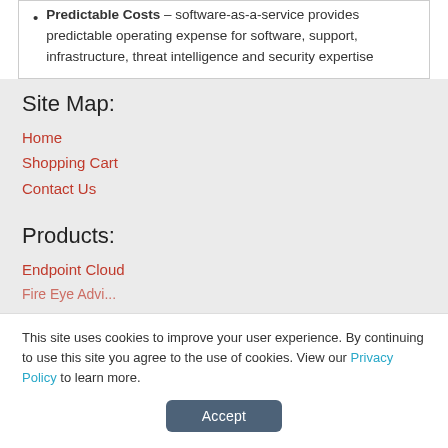Predictable Costs – software-as-a-service provides predictable operating expense for software, support, infrastructure, threat intelligence and security expertise
Site Map:
Home
Shopping Cart
Contact Us
Products:
Endpoint Cloud
This site uses cookies to improve your user experience. By continuing to use this site you agree to the use of cookies. View our Privacy Policy to learn more.